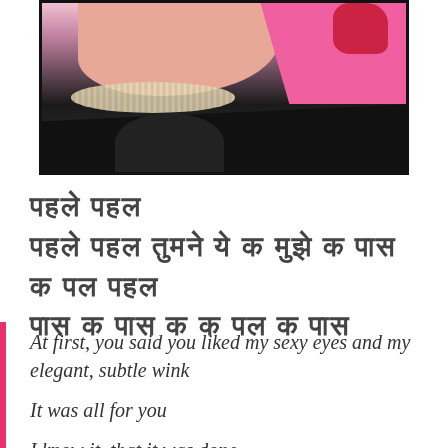[Figure (photo): A woman wearing a pearl necklace and pink headscarf/dupatta, smiling, with dark decorative foliage in the lower portion of the image. Appears to be a music video or film still.]
पहले पहल
पहले पहल तुमने ये क मुझे क पास
क पल पहल
पास क पास क क पल क पास
At first, you said you liked my sexy eyes and my elegant, subtle wink
It was all for you
I know it, that it was done